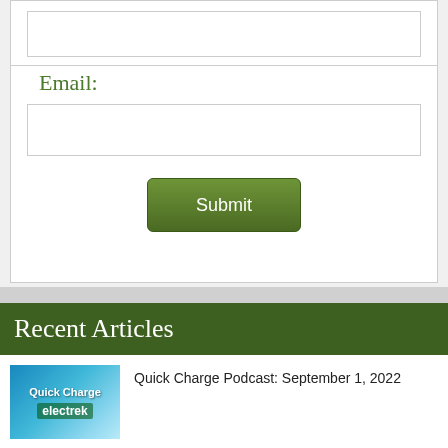[Figure (other): Empty form input box (text field) at top of page]
Email:
[Figure (other): Empty email input text field]
[Figure (other): Green Submit button]
Recent Articles
[Figure (other): Quick Charge Podcast thumbnail with electrek branding on blue background]
Quick Charge Podcast: September 1, 2022
[Figure (photo): Thumbnail image for Russia energy article]
Russia's energy influence over Europe 'is nearly...